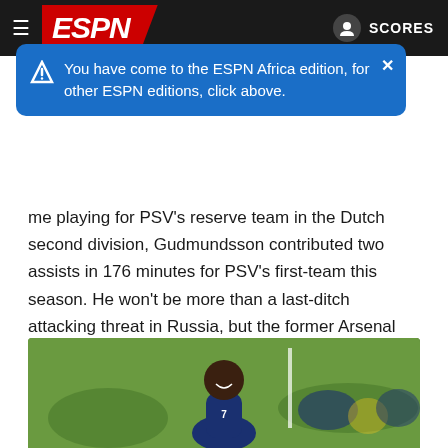ESPN
You have come to the ESPN Africa edition, for other ESPN editions, click above.
me playing for PSV's reserve team in the Dutch second division, Gudmundsson contributed two assists in 176 minutes for PSV's first-team this season. He won't be more than a last-ditch attacking threat in Russia, but the former Arsenal and Liverpool trialist has a bright future.
17. Jose Luis Rodriguez, forward
Age: 19 | Country: Panama | Club: Gent (Belgium)
[Figure (photo): Jose Luis Rodriguez smiling in a dark blue/yellow jersey, with other players visible in background on a green field]